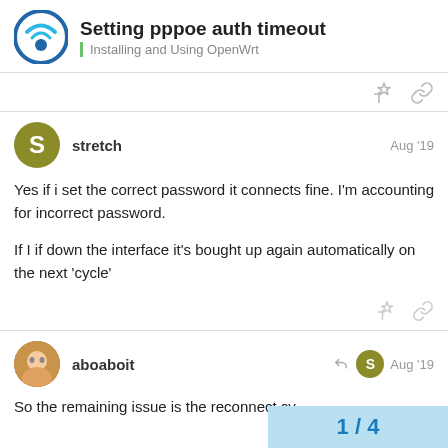Setting pppoe auth timeout | Installing and Using OpenWrt
Yes if i set the correct password it connects fine. I'm accounting for incorrect password.

If I if down the interface it's bought up again automatically on the next 'cycle'
aboaboit — Aug '19

So the remaining issue is the reconnect cy...
1 / 4